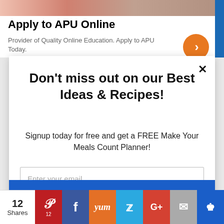[Figure (screenshot): Top portion of ad banner with an image strip of people]
Apply to APU Online
Provider of Quality Online Education. Apply to APU Today.
Don't miss out on our Best Ideas & Recipes!
Signup today for free and get a FREE Make Your Meals Count Planner!
Enter your email
Subscribe
12 Shares